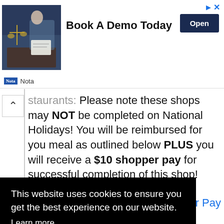[Figure (screenshot): Advertisement banner with an image of legal/office scene (scales of justice, person writing), bold text 'Book A Demo Today', and an 'Open' button. Top-right has ad icons (triangle and X).]
Nota
staurants:  Please note these shops may NOT be completed on National Holidays! You will be reimbursed for you meal as outlined below PLUS you will receive a $10 shopper pay for successful completion of this shop! Objective You◆ll be dining in... Continue
This website uses cookies to ensure you get the best experience on our website.
Learn more
Got it!
er Pay
scheduling shops at a popular gentleman's